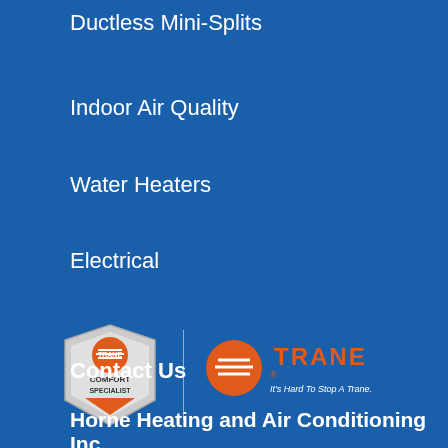Ductless Mini-Splits
Indoor Air Quality
Water Heaters
Electrical
[Figure (logo): Trane Comfort Specialist badge logo on the left and Trane brand logo with tagline 'It's Hard To Stop A Trane.' on the right, separated by a vertical line, on a blue background]
Contact Us
Horne Heating and Air Conditioning Inc.